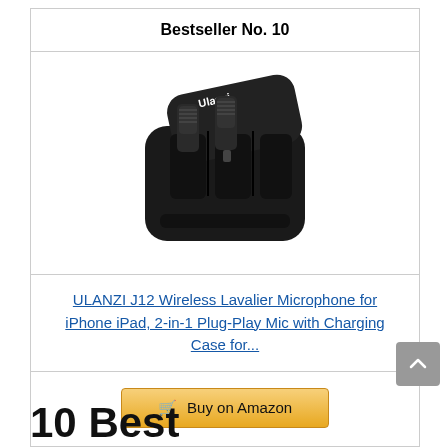Bestseller No. 10
[Figure (photo): ULANZI J12 wireless lavalier microphone with charging case, product photo on white background]
ULANZI J12 Wireless Lavalier Microphone for iPhone iPad, 2-in-1 Plug-Play Mic with Charging Case for...
Buy on Amazon
10 Best